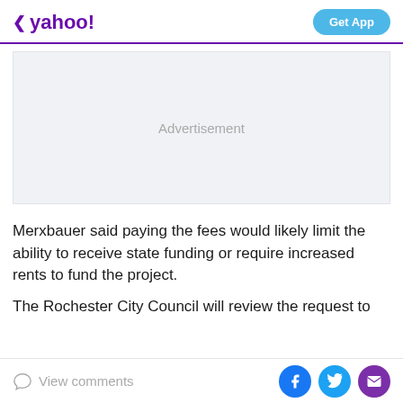< yahoo! | Get App
[Figure (other): Advertisement placeholder box with light gray background and 'Advertisement' label in center]
Merxbauer said paying the fees would likely limit the ability to receive state funding or require increased rents to fund the project.
The Rochester City Council will review the request to
View comments | Facebook | Twitter | Mail